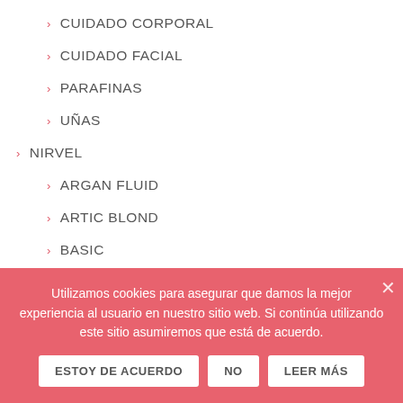> CUIDADO CORPORAL
> CUIDADO FACIAL
> PARAFINAS
> UÑAS
> NIRVEL
> ARGAN FLUID
> ARTIC BLOND
> BASIC
> CARE
> GREEN
> LONGEVITY HAIR
> MEN
Utilizamos cookies para asegurar que damos la mejor experiencia al usuario en nuestro sitio web. Si continúa utilizando este sitio asumiremos que está de acuerdo.
ESTOY DE ACUERDO | NO | LEER MÁS